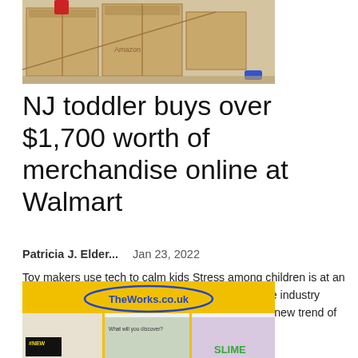[Figure (photo): Photo of large cardboard boxes stacked, with items visible inside, on a floor with a toy in the background]
NJ toddler buys over $1,700 worth of merchandise online at Walmart
Patricia J. Elder...   Jan 23, 2022
Toy makers use tech to calm kids Stress among children is at an all-time high due to the COVID pandemic, with one industry group calling it a national crisis. This is sparking a new trend of "calming" toys, one of which was just named...
[Figure (photo): Photo of a TheWorks.co.uk store front showing yellow signage, store entrance, and interior with shelves including SLIME products and #NEW labels]